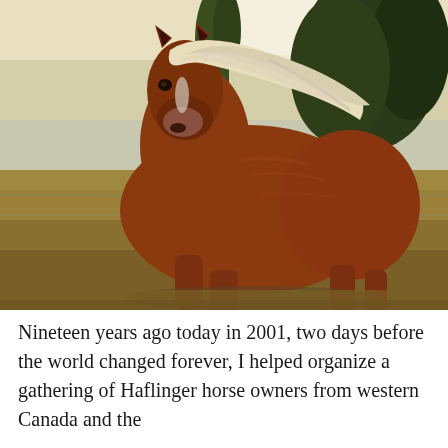[Figure (photo): A chestnut Haflinger horse with a flowing white/blonde mane standing facing the camera in a field or pasture. The background shows dry grass, a wire fence, and trees. The photo is taken at dusk or in soft natural light.]
Nineteen years ago today in 2001, two days before the world changed forever, I helped organize a gathering of Haflinger horse owners from western Canada and the